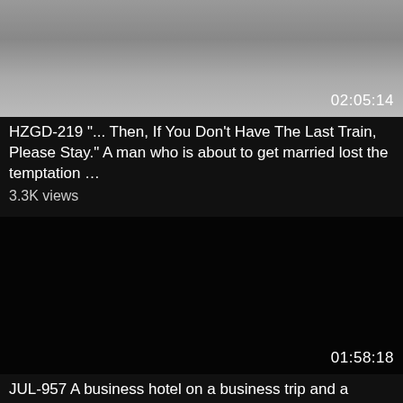[Figure (screenshot): Video thumbnail showing a gradient gray background, partially visible, with duration overlay 02:05:14]
HZGD-219 "... Then, If You Don't Have The Last Train, Please Stay." A man who is about to get married lost the temptation …
3.3K views
[Figure (screenshot): Very dark video thumbnail, nearly black, with faint silhouettes visible, duration overlay 01:58:18]
JUL-957 A business hotel on a business trip and a female boss who has always dreamed of sharing a room Yumi Kazama
2.6K views